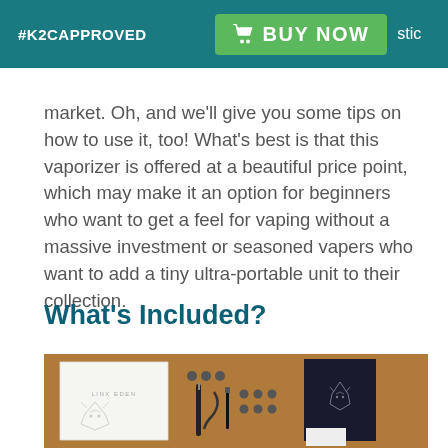#K2CAPPROVED  BUY NOW  stic
market. Oh, and we'll give you some tips on how to use it, too! What's best is that this vaporizer is offered at a beautiful price point, which may make it an option for beginners who want to get a feel for vaping without a massive investment or seasoned vapers who want to add a tiny ultra-portable unit to their collection.
What's Included?
[Figure (photo): Photo of Linx Eden vaporizer box contents laid out on a wooden surface, including the white product box with lynx logo, the vaporizer device, accessories, a dark manual/booklet with lynx logo, and other included items.]